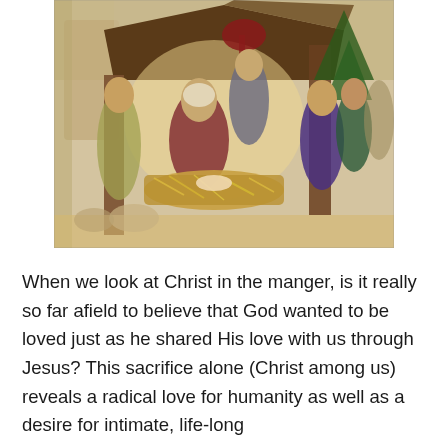[Figure (photo): A nativity scene display with figurines of Mary, Joseph, baby Jesus in a manger with hay, wise men, and other figures gathered around a small stable structure. Red ribbon decoration and a Christmas tree visible in background. Scene is set on a shelf or table in what appears to be a church.]
When we look at Christ in the manger, is it really so far afield to believe that God wanted to be loved just as he shared His love with us through Jesus? This sacrifice alone (Christ among us) reveals a radical love for humanity as well as a desire for intimate, life-long